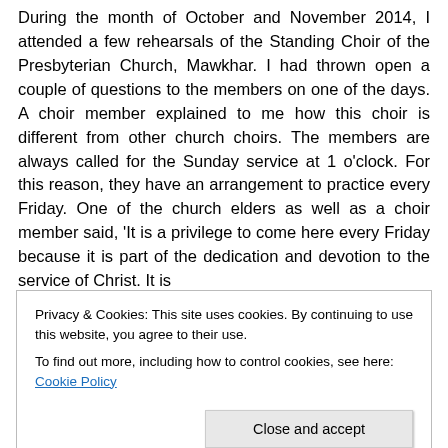During the month of October and November 2014, I attended a few rehearsals of the Standing Choir of the Presbyterian Church, Mawkhar. I had thrown open a couple of questions to the members on one of the days. A choir member explained to me how this choir is different from other church choirs. The members are always called for the Sunday service at 1 o'clock. For this reason, they have an arrangement to practice every Friday. One of the church elders as well as a choir member said, 'It is a privilege to come here every Friday because it is part of the dedication and devotion to the service of Christ. It is
Privacy & Cookies: This site uses cookies. By continuing to use this website, you agree to their use.
To find out more, including how to control cookies, see here: Cookie Policy
Close and accept
devotion